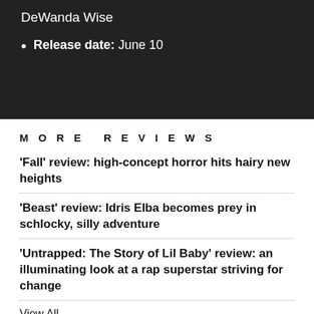DeWanda Wise
Release date: June 10
MORE REVIEWS
'Fall' review: high-concept horror hits hairy new heights
'Beast' review: Idris Elba becomes prey in schlocky, silly adventure
'Untrapped: The Story of Lil Baby' review: an illuminating look at a rap superstar striving for change
View All